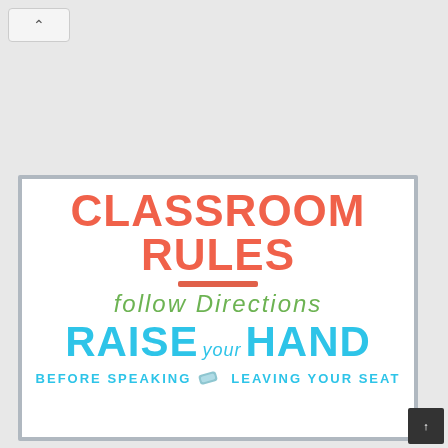[Figure (illustration): Classroom Rules poster with colorful text. Title 'CLASSROOM RULES' in bold coral/red. 'FOLLOW DIRECTIONS' in green handwritten style. 'RAISE your HAND' in bold cyan/teal with cursive 'your'. 'BEFORE SPEAKING' and 'LEAVING YOUR SEAT' in teal caps at bottom with an eraser icon between them.]